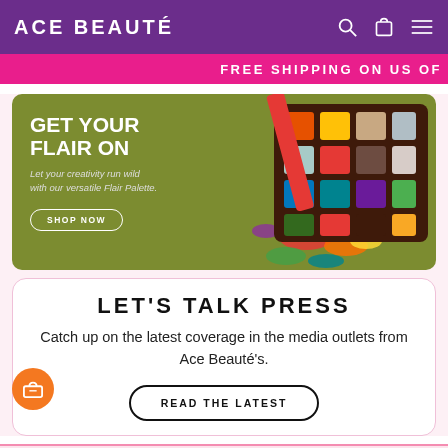ACE BEAUTÉ
FREE SHIPPING ON US OF
[Figure (illustration): Promotional banner with olive green background showing 'GET YOUR FLAIR ON' text with a colorful eyeshadow palette on the right side with scattered pigments]
LET'S TALK PRESS
Catch up on the latest coverage in the media outlets from Ace Beauté's.
READ THE LATEST
About
Shop